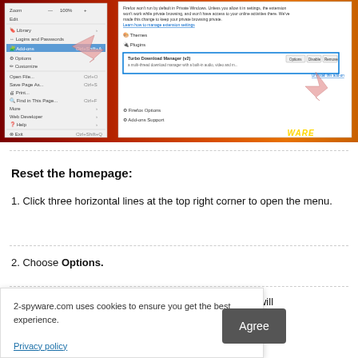[Figure (screenshot): Firefox browser screenshot showing the browser menu open on the left with 'Add-ons' highlighted, and the Add-ons Manager on the right showing 'Turbo Download Manager' extension with Options, Disable, and Remove buttons. Two pink arrows point to relevant UI elements. 2-spyware.com watermark at bottom right.]
Reset the homepage:
1. Click three horizontal lines at the top right corner to open the menu.
2. Choose Options.
2-spyware.com uses cookies to ensure you get the best experience.
Privacy policy
d site that will Firefox.
Agree